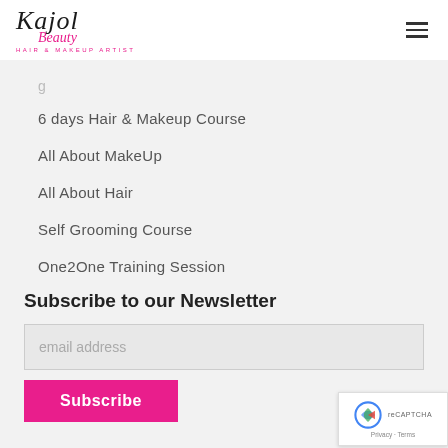Kajol Beauty - Hair & Makeup Artist
6 days Hair & Makeup Course
All About MakeUp
All About Hair
Self Grooming Course
One2One Training Session
Subscribe to our Newsletter
email address
Subscribe